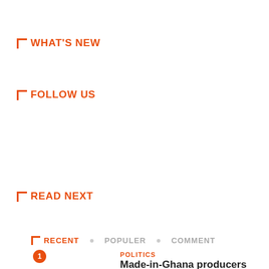WHAT'S NEW
FOLLOW US
READ NEXT
RECENT • POPULER • COMMENT
1
POLITICS
Made-in-Ghana producers urged to make use